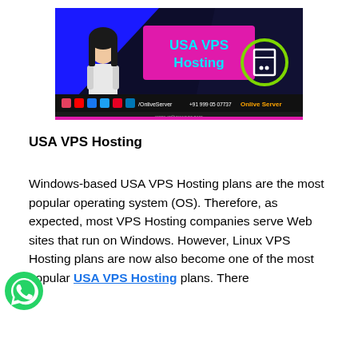[Figure (illustration): USA VPS Hosting promotional banner with a woman, blue/black background, pink text box reading 'USA VPS Hosting', social media icons, phone number, and website www.onliveserver.com]
USA VPS Hosting
Windows-based USA VPS Hosting plans are the most popular operating system (OS). Therefore, as expected, most VPS Hosting companies serve Web sites that run on Windows. However, Linux VPS Hosting plans are now also become one of the most popular USA VPS Hosting plans. There